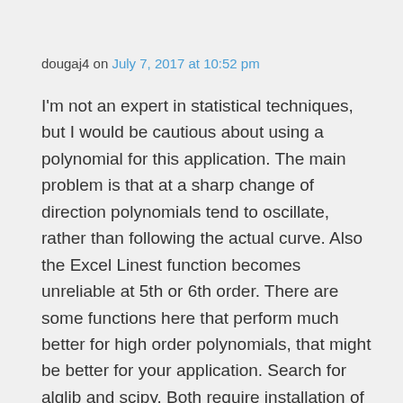dougaj4 on July 7, 2017 at 10:52 pm
I'm not an expert in statistical techniques, but I would be cautious about using a polynomial for this application. The main problem is that at a sharp change of direction polynomials tend to oscillate, rather than following the actual curve. Also the Excel Linest function becomes unreliable at 5th or 6th order. There are some functions here that perform much better for high order polynomials, that might be better for your application. Search for alglib and scipy. Both require installation of external libraries, but both are free. If you